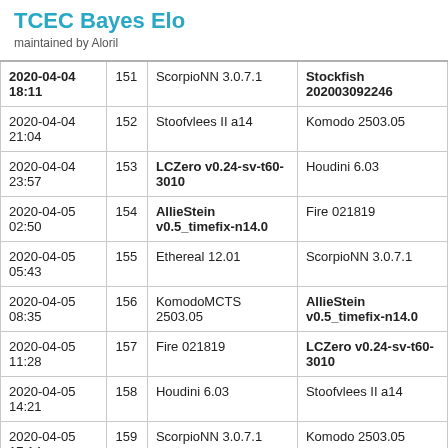TCEC Bayes Elo
maintained by Aloril
| Date | # | White | Black |
| --- | --- | --- | --- |
| 2020-04-04 18:11 | 151 | ScorpioNN 3.0.7.1 | Stockfish 202003092246 |
| 2020-04-04 21:04 | 152 | Stoofvlees II a14 | Komodo 2503.05 |
| 2020-04-04 23:57 | 153 | LCZero v0.24-sv-t60-3010 | Houdini 6.03 |
| 2020-04-05 02:50 | 154 | AllieStein v0.5_timefix-n14.0 | Fire 021819 |
| 2020-04-05 05:43 | 155 | Ethereal 12.01 | ScorpioNN 3.0.7.1 |
| 2020-04-05 08:35 | 156 | KomodoMCTS 2503.05 | AllieStein v0.5_timefix-n14.0 |
| 2020-04-05 11:28 | 157 | Fire 021819 | LCZero v0.24-sv-t60-3010 |
| 2020-04-05 14:21 | 158 | Houdini 6.03 | Stoofvlees II a14 |
| 2020-04-05 17:14 | 159 | ScorpioNN 3.0.7.1 | Komodo 2503.05 |